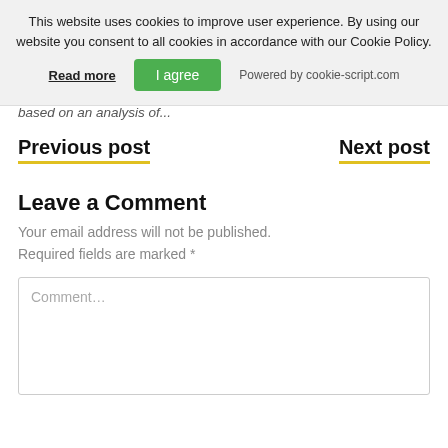This website uses cookies to improve user experience. By using our website you consent to all cookies in accordance with our Cookie Policy.
Read more | I agree | Powered by cookie-script.com
based on an analysis of...
Previous post
Next post
Leave a Comment
Your email address will not be published. Required fields are marked *
Comment...